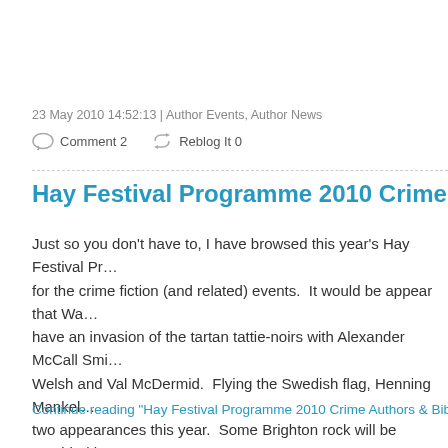23 May 2010 14:52:13 | Author Events, Author News
Comment 2    Reblog It 0
Hay Festival Programme 2010 Crime Authors & Bibliotherapy
Just so you don't have to, I have browsed this year's Hay Festival Programme for the crime fiction (and related) events.  It would be appear that Wales have an invasion of the tartan tattie-noirs with Alexander McCall Smith, Iain Welsh and Val McDermid.  Flying the Swedish flag, Henning Mankell makes two appearances this year.  Some Brighton rock will be provided by Peter James.  Levering in London representation we have Martina Cole and Mark Billingham, the latter talking about the move to screen for DI Thorne. And there are more…
Continue reading "Hay Festival Programme 2010 Crime Authors & Bibliotherapy"